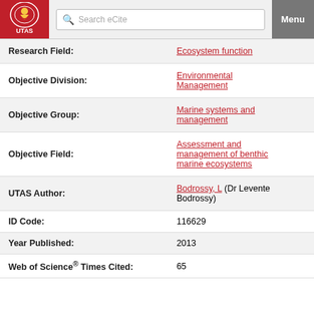UTAS eCite — Search eCite / Menu
| Field | Value |
| --- | --- |
| Research Field: | Ecosystem function |
| Objective Division: | Environmental Management |
| Objective Group: | Marine systems and management |
| Objective Field: | Assessment and management of benthic marine ecosystems |
| UTAS Author: | Bodrossy, L (Dr Levente Bodrossy) |
| ID Code: | 116629 |
| Year Published: | 2013 |
| Web of Science® Times Cited: | 65 |